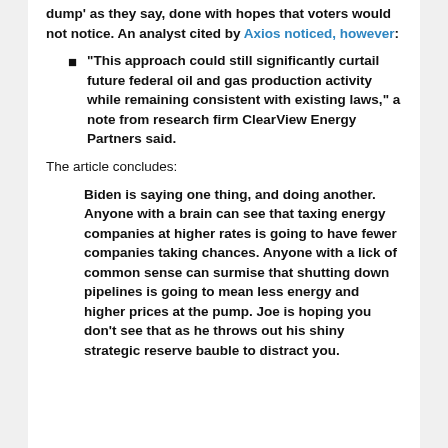dump' as they say, done with hopes that voters would not notice. An analyst cited by Axios noticed, however:
“This approach could still significantly curtail future federal oil and gas production activity while remaining consistent with existing laws,” a note from research firm ClearView Energy Partners said.
The article concludes:
Biden is saying one thing, and doing another. Anyone with a brain can see that taxing energy companies at higher rates is going to have fewer companies taking chances. Anyone with a lick of common sense can surmise that shutting down pipelines is going to mean less energy and higher prices at the pump. Joe is hoping you don’t see that as he throws out his shiny strategic reserve bauble to distract you.